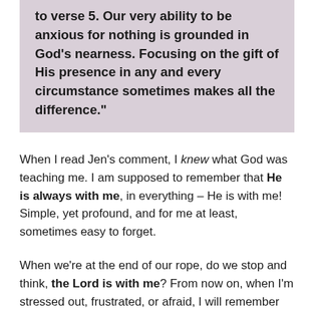to verse 5. Our very ability to be anxious for nothing is grounded in God's nearness. Focusing on the gift of His presence in any and every circumstance sometimes makes all the difference."
When I read Jen's comment, I knew what God was teaching me. I am supposed to remember that He is always with me, in everything – He is with me! Simple, yet profound, and for me at least, sometimes easy to forget.
When we're at the end of our rope, do we stop and think, the Lord is with me? From now on, when I'm stressed out, frustrated, or afraid, I will remember that God Himself taught me that I am